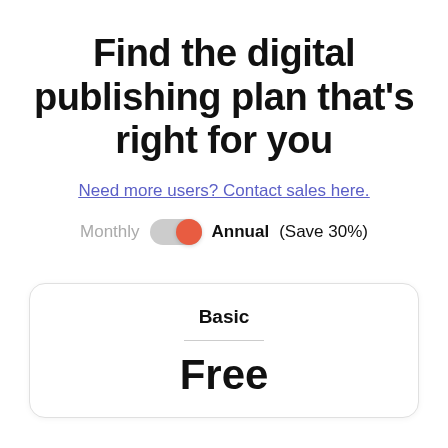Find the digital publishing plan that's right for you
Need more users? Contact sales here.
Monthly  Annual (Save 30%)
Basic
Free